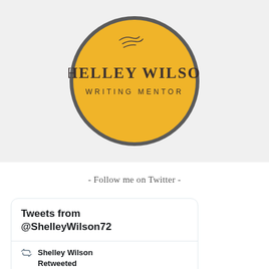[Figure (logo): Shelley Wilson Writing Mentor logo: a yellow circle with dark gray border, containing the text SHELLEY WILSON in large serif letters and WRITING MENTOR in smaller spaced caps, with a small pen/quill sketch above the text.]
- Follow me on Twitter -
Tweets from @ShelleyWilson72
Shelley Wilson Retweeted